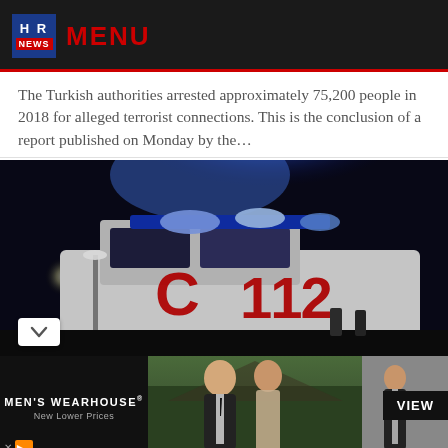HR NEWS | MENU
The Turkish authorities arrested approximately 75,200 people in 2018 for alleged terrorist connections. This is the conclusion of a report published on Monday by the…
[Figure (photo): Night-time photo of a Turkish emergency ambulance vehicle with blue flashing lights and the number 112 displayed on the side, in a dark outdoor setting with a street lamp visible in the background.]
[Figure (photo): Men's Wearhouse advertisement banner showing a formally dressed couple (man in dark suit, woman in formal wear) and a standalone man in a dark suit with a 'VIEW' button. Text reads: MEN'S WEARHOUSE New Lower Prices.]